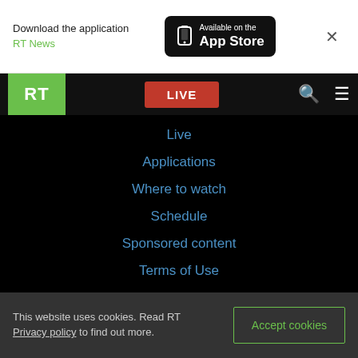Download the application RT News
[Figure (screenshot): Available on the App Store button (black rounded rectangle with phone icon)]
×
RT LIVE
Live
Applications
Where to watch
Schedule
Sponsored content
Terms of Use
This website uses cookies. Read RT Privacy policy to find out more.
Accept cookies